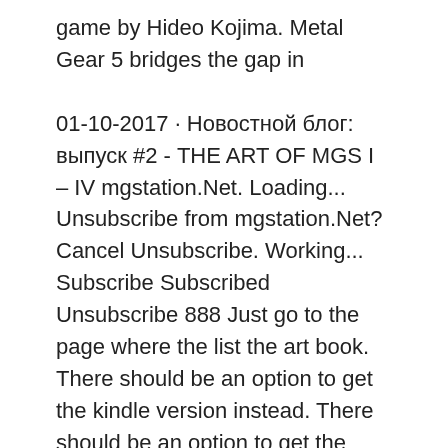game by Hideo Kojima. Metal Gear 5 bridges the gap in
01-10-2017 · Новостной блог: выпуск #2 - THE ART OF MGS I – IV mgstation.Net. Loading... Unsubscribe from mgstation.Net? Cancel Unsubscribe. Working... Subscribe Subscribed Unsubscribe 888 Just go to the page where the list the art book. There should be an option to get the kindle version instead. There should be an option to get the kindle version instead. level 1
The Art of Metal Gear Solid V . Libro de arte de MGSV: The phantom painFull description. Metal Gear Solid 3 - Guia Oficial . Metal Gear Solid 3 - Guia Oficial. Metal Gear Solid 4 - Guía Oficial . Descripción: Metal Gear Solid 4 - Guía Oficial. Metal Gear Solid V - Guia Oficial.pdf . Descripción completa. Metal Gear Risk Rules . Instruction Manual. Metal Gear Risk Rules . Instruction Manual. Metal Gear Solid Twin Snakes …